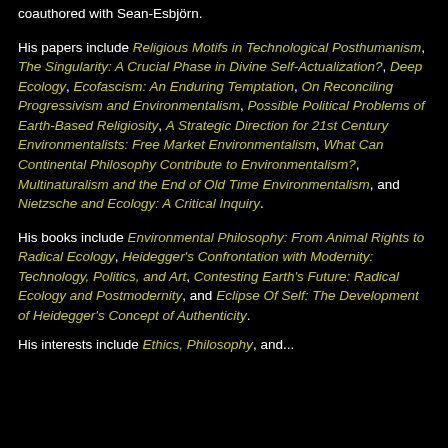coauthored with Sean-Esbjörn.
His papers include Religious Motifs in Technological Posthumanism, The Singularity: A Crucial Phase in Divine Self-Actualization?, Deep Ecology, Ecofascism: An Enduring Temptation, On Reconciling Progressivism and Environmentalism, Possible Political Problems of Earth-Based Religiosity, A Strategic Direction for 21st Century Environmentalists: Free Market Environmentalism, What Can Continental Philosophy Contribute to Environmentalism?, Multinaturalism and the End of Old Time Environmentalism, and Nietzsche and Ecology: A Critical Inquiry.
His books include Environmental Philosophy: From Animal Rights to Radical Ecology, Heidegger's Confrontation with Modernity: Technology, Politics, and Art, Contesting Earth's Future: Radical Ecology and Postmodernity, and Eclipse Of Self: The Development of Heidegger's Concept of Authenticity.
His interests include Ethics, Philosophy, and...